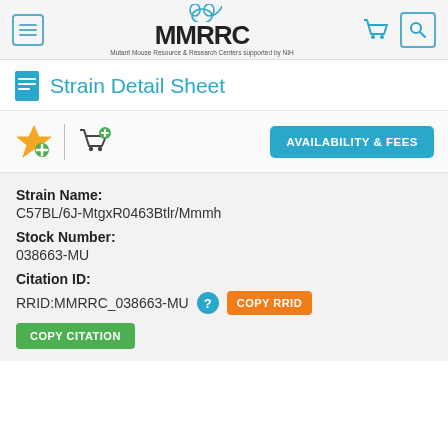MMRRC — Mutant Mouse Resource & Research Centers supported by NIH
Strain Detail Sheet
AVAILABILITY & FEES
Strain Name:
C57BL/6J-MtgxR0463Btlr/Mmmh
Stock Number:
038663-MU
Citation ID:
RRID:MMRRC_038663-MU
COPY RRID
COPY CITATION